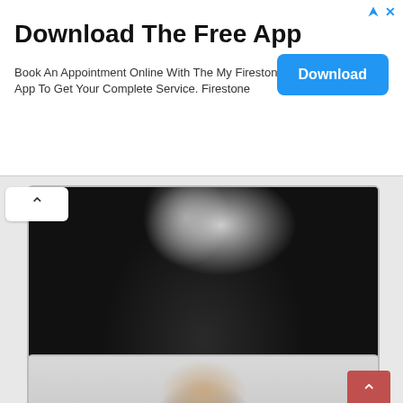[Figure (infographic): Advertisement banner: 'Download The Free App' with subtitle 'Book An Appointment Online With The My Firestone® App To Get Your Complete Service. Firestone' and a blue Download button on the right.]
[Figure (photo): Black and white close-up portrait photograph of a bearded man wearing a black turtleneck with a chain necklace, viewed from the side/profile angle.]
[Figure (photo): Color portrait photograph of a dark-haired man with stubble beard wearing a dark jacket, looking toward the camera against a light gray background.]